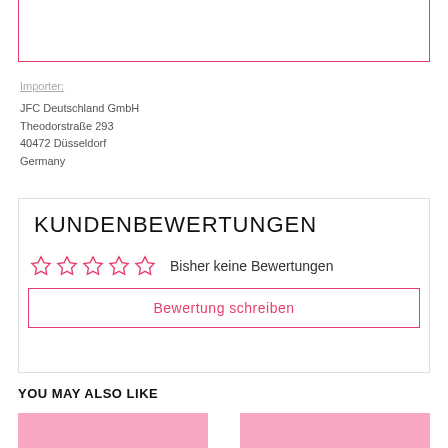Importer:
JFC Deutschland GmbH
Theodorstraße 293
40472 Düsseldorf
Germany
KUNDENBEWERTUNGEN
☆☆☆☆☆ Bisher keine Bewertungen
Bewertung schreiben
YOU MAY ALSO LIKE